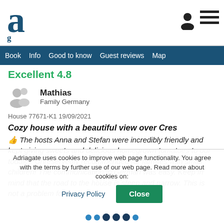[Figure (logo): Adriagate logo: large letter 'a' in dark blue serif font]
Book  Info  Good to know  Guest reviews  Map
Excellent 4.8
Mathias
Family Germany
House 77671-K1 19/09/2021
Cozy house with a beautiful view over Cres
👍 The hosts Anna and Stefan were incredibly friendly and kept giving sweets and delicious homegrown tomatoes to our toddler. Unreservedly recommended for families with small children! The communication in German was easy. Keep in mind that the road to the house is steep and narrow. This is not a problem for a drivers or people who don't like to drive.
Adriagate uses cookies to improve web page functionality. You agree with the terms by further use of our web page. Read more about cookies on:
Privacy Policy  Close